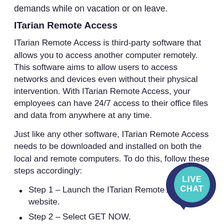demands while on vacation or on leave.
ITarian Remote Access
ITarian Remote Access is third-party software that allows you to access another computer remotely. This software aims to allow users to access networks and devices even without their physical intervention. With ITarian Remote Access, your employees can have 24/7 access to their office files and data from anywhere at any time.
Just like any other software, ITarian Remote Access needs to be downloaded and installed on both the local and remote computers. To do this, follow these steps accordingly:
Step 1 – Launch the ITarian Remote Access website.
Step 2 – Select GET NOW.
Step 3 – Enter in your email address
[Figure (illustration): Live Chat speech bubble icon with teal background and white text reading LIVE CHAT]